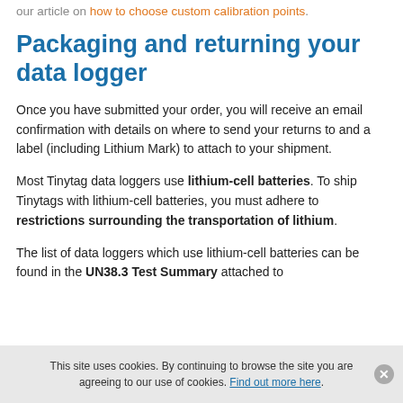our article on how to choose custom calibration points.
Packaging and returning your data logger
Once you have submitted your order, you will receive an email confirmation with details on where to send your returns to and a label (including Lithium Mark) to attach to your shipment.
Most Tinytag data loggers use lithium-cell batteries. To ship Tinytags with lithium-cell batteries, you must adhere to restrictions surrounding the transportation of lithium.
The list of data loggers which use lithium-cell batteries can be found in the UN38.3 Test Summary attached to
This site uses cookies. By continuing to browse the site you are agreeing to our use of cookies. Find out more here.